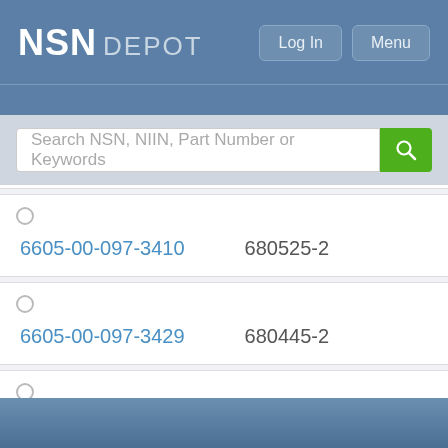NSN DEPOT
Search NSN, NIIN, Part Number or Keywords
6605-00-097-3410	680525-2
6605-00-097-3429	680445-2